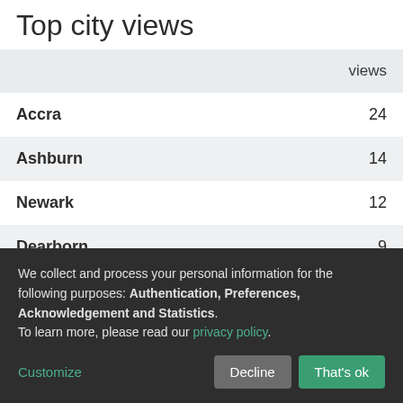Top city views
|  | views |
| --- | --- |
| Accra | 24 |
| Ashburn | 14 |
| Newark | 12 |
| Dearborn | 9 |
| Jacksonville | 8 |
| Hanoi | 7 |
We collect and process your personal information for the following purposes: Authentication, Preferences, Acknowledgement and Statistics. To learn more, please read our privacy policy.
Customize | Decline | That's ok